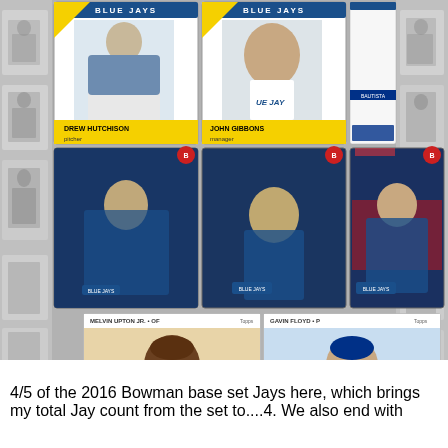[Figure (photo): Collage of baseball cards on a gray background with faded cards visible. Top row shows three Toronto Blue Jays cards: Drew Hutchison (pitcher) with yellow name banner, John Gibbons (manager) with yellow name banner, and Jose Bautista. Middle row shows three Bowman cards: Encarnacion, Stroman, and Tulowitzki. Bottom row shows two Topps Heritage cards: Melvin Upton Jr. (OF) for the Padres with red PADRES banner, and Gavin Floyd (P) for the Blue Jays with gold BLUE JAYS banner. Faded cards visible on both sides and bottom background.]
4/5 of the 2016 Bowman base set Jays here, which brings my total Jay count from the set to....4. We also end with